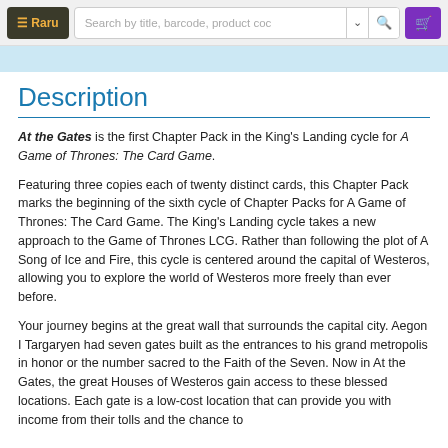≡ Raru | Search by title, barcode, product code
Description
At the Gates is the first Chapter Pack in the King's Landing cycle for A Game of Thrones: The Card Game.
Featuring three copies each of twenty distinct cards, this Chapter Pack marks the beginning of the sixth cycle of Chapter Packs for A Game of Thrones: The Card Game. The King's Landing cycle takes a new approach to the Game of Thrones LCG. Rather than following the plot of A Song of Ice and Fire, this cycle is centered around the capital of Westeros, allowing you to explore the world of Westeros more freely than ever before.
Your journey begins at the great wall that surrounds the capital city. Aegon I Targaryen had seven gates built as the entrances to his grand metropolis in honor or the number sacred to the Faith of the Seven. Now in At the Gates, the great Houses of Westeros gain access to these blessed locations. Each gate is a low-cost location that can provide you with income from their tolls and the chance to